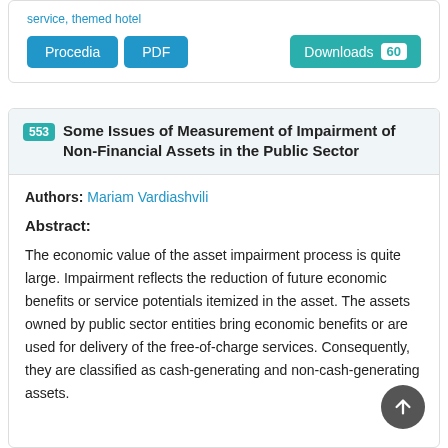service, themed hotel
Procedia | PDF | Downloads 60
553 Some Issues of Measurement of Impairment of Non-Financial Assets in the Public Sector
Authors: Mariam Vardiashvili
Abstract:
The economic value of the asset impairment process is quite large. Impairment reflects the reduction of future economic benefits or service potentials itemized in the asset. The assets owned by public sector entities bring economic benefits or are used for delivery of the free-of-charge services. Consequently, they are classified as cash-generating and non-cash-generating assets.